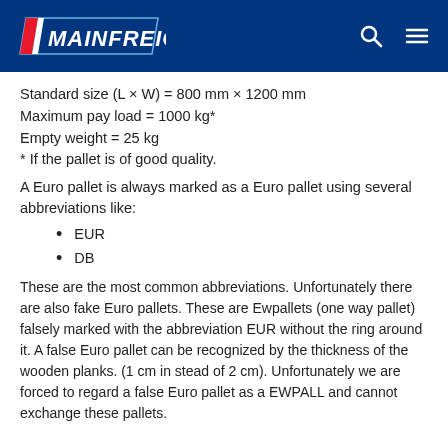Mainfreight
Standard size (L × W) = 800 mm × 1200 mm
Maximum pay load = 1000 kg*
Empty weight = 25 kg
* If the pallet is of good quality.
A Euro pallet is always marked as a Euro pallet using several abbreviations like:
EUR
DB
These are the most common abbreviations. Unfortunately there are also fake Euro pallets. These are Ewpallets (one way pallet) falsely marked with the abbreviation EUR without the ring around it. A false Euro pallet can be recognized by the thickness of the wooden planks. (1 cm in stead of 2 cm). Unfortunately we are forced to regard a false Euro pallet as a EWPALL and cannot exchange these pallets.